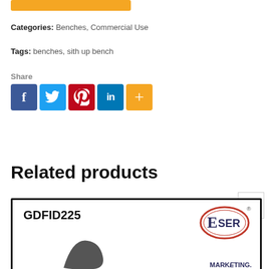Categories: Benches, Commercial Use
Tags: benches, sith up bench
Share
[Figure (infographic): Social share buttons: Facebook (blue), Twitter (light blue), Pinterest (red), LinkedIn (dark blue), More (orange)]
Related products
[Figure (photo): Product card showing GDFID225 with Eser Marketing logo and a partial product image]